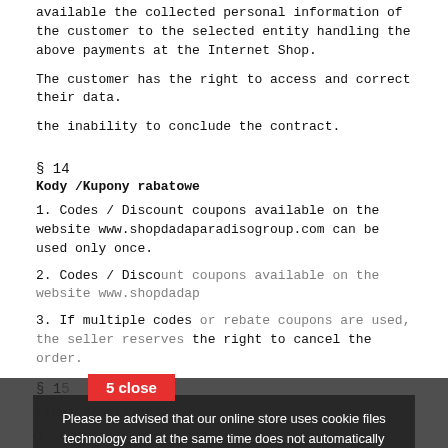available the collected personal information of the customer to the selected entity handling the above payments at the Internet Shop.
The customer has the right to access and correct their data.
the inability to conclude the contract.
§ 14
Kody /Kupony rabatowe
1. Codes / Discount coupons available on the website www.shopdadaparadisogroup.com can be used only once.
2. Codes / Discount coupons available on the website www.shopdadap...
3. If multiple codes or rebate coupons are used, the seller reserves the right to cancel the order.
§ 15
Final Provisions
1. Contracts concluded through the Internet Shop are concluded in the Polish language.
2. The Seller reserves the right to make changes to the Regulations for important reasons: changes to the law, changes in payment methods and deliveries, to the extent that these changes affect the
Please be advised that our online store uses cookie files technology and at the same time does not automatically collect any information, except for the information contained in these files (so-called "cookies"). If you want to learn more about our privacy policy in relation to RODO CLICK HERE. After closing this information, you always have access to it in the footer, that is, the bottom of the page.